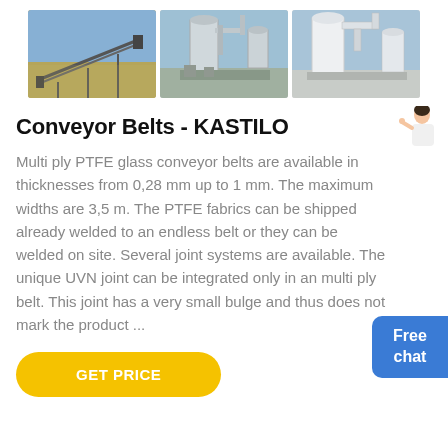[Figure (photo): Three photos of industrial conveyor belt and filtration equipment installations outdoors]
Conveyor Belts - KASTILO
Multi ply PTFE glass conveyor belts are available in thicknesses from 0,28 mm up to 1 mm. The maximum widths are 3,5 m. The PTFE fabrics can be shipped already welded to an endless belt or they can be welded on site. Several joint systems are available. The unique UVN joint can be integrated only in an multi ply belt. This joint has a very small bulge and thus does not mark the product ...
[Figure (illustration): Chat widget with person illustration and Free chat button]
GET PRICE